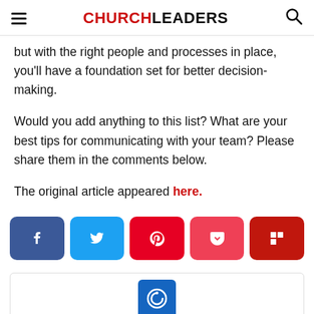CHURCHLEADERS
but with the right people and processes in place, you'll have a foundation set for better decision-making.
Would you add anything to this list? What are your best tips for communicating with your team? Please share them in the comments below.
The original article appeared here.
[Figure (other): Social sharing buttons: Facebook (dark blue), Twitter (light blue), Pinterest (red), Pocket (pink-red), Flipboard (dark red)]
[Figure (logo): ChurchLeaders author logo - blue square with white circular power/link icon]